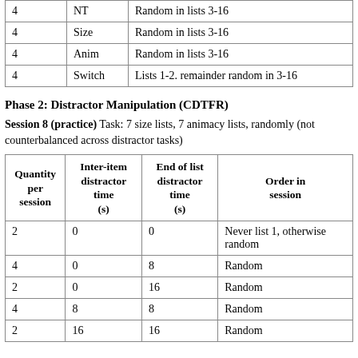|  |  |  |
| --- | --- | --- |
| 4 | NT | Random in lists 3-16 |
| 4 | Size | Random in lists 3-16 |
| 4 | Anim | Random in lists 3-16 |
| 4 | Switch | Lists 1-2. remainder random in 3-16 |
Phase 2: Distractor Manipulation (CDTFR)
Session 8 (practice) Task: 7 size lists, 7 animacy lists, randomly (not counterbalanced across distractor tasks)
| Quantity per session | Inter-item distractor time (s) | End of list distractor time (s) | Order in session |
| --- | --- | --- | --- |
| 2 | 0 | 0 | Never list 1, otherwise random |
| 4 | 0 | 8 | Random |
| 2 | 0 | 16 | Random |
| 4 | 8 | 8 | Random |
| 2 | 16 | 16 | Random |